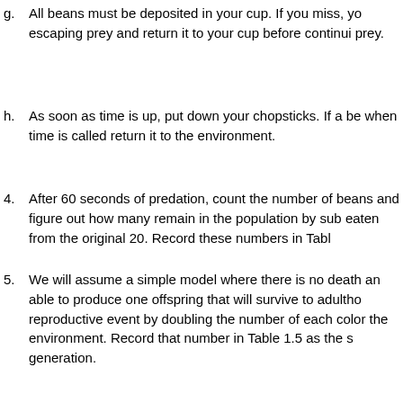g. All beans must be deposited in your cup. If you miss, yo escaping prey and return it to your cup before continui prey.
h. As soon as time is up, put down your chopsticks. If a be when time is called return it to the environment.
4. After 60 seconds of predation, count the number of beans and figure out how many remain in the population by sub eaten from the original 20. Record these numbers in Tabl
5. We will assume a simple model where there is no death an able to produce one offspring that will survive to adultho reproductive event by doubling the number of each color the environment. Record that number in Table 1.5 as the s generation.